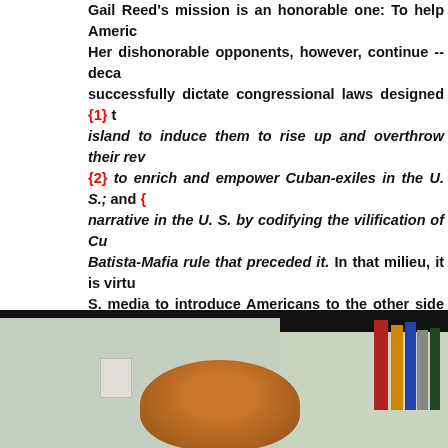Gail Reed's mission is an honorable one: To help Americ... Her dishonorable opponents, however, continue -- deca... successfully dictate congressional laws designed {1} t... island to induce them to rise up and overthrow their rev... {2} to enrich and empower Cuban-exiles in the U. S.; and {... narrative in the U. S. by codifying the vilification of Cu... Batista-Mafia rule that preceded it. In that milieu, it is virtu... S. media to introduce Americans to the other side of a tw... the medical expertise of Gail Reed and her commendab... cooperation, not hubris, between the two neighboring n... MEDICC website, she has posted four videos of impass... and honorable people pleading for the U. S. Congr... cooperation between Cuba and the United States. But it is... U. S. media that, mostly, has deaf ears and heartlessly col... even remotely positive regarding Cuba.
[Figure (photo): A video screenshot showing a woman with reddish-brown hair in front of a wall with a bookshelf visible on the right side. Dark black bar at the top of the image.]